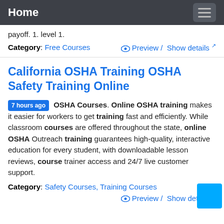Home
payoff. 1. level 1.
Category: Free Courses   👁 Preview / Show details
California OSHA Training OSHA Safety Training Online
7 hours ago OSHA Courses. Online OSHA training makes it easier for workers to get training fast and efficiently. While classroom courses are offered throughout the state, online OSHA Outreach training guarantees high-quality, interactive education for every student, with downloadable lesson reviews, course trainer access and 24/7 live customer support.
Category: Safety Courses, Training Courses   👁 Preview / Show details